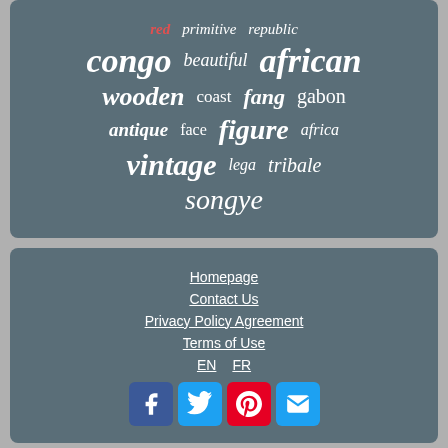[Figure (infographic): Tag cloud on slate-blue background with words: red, primitive, republic (partial), congo, beautiful, african, wooden, coast, fang, gabon, antique, face, figure, africa, vintage, lega, tribale, songye]
Homepage
Contact Us
Privacy Policy Agreement
Terms of Use
EN  FR
[Figure (infographic): Social media icons row: Facebook (blue), Twitter (blue), Pinterest (red), Email (blue)]